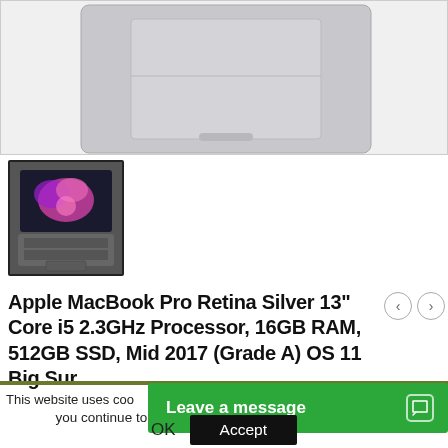[Figure (photo): Close-up view of MacBook Pro bottom (trackpad area), silver color, shown against white background with light border]
[Figure (photo): Thumbnail of MacBook Pro open showing colorful wallpaper on screen, silver, viewed from above at slight angle]
Apple MacBook Pro Retina Silver 13" Core i5 2.3GHz Processor, 16GB RAM, 512GB SSD, Mid 2017 (Grade A) OS 11 Big Sur
This website uses coo you continue to browse the site then we'll assume you're
Leave a message
OK  Accept